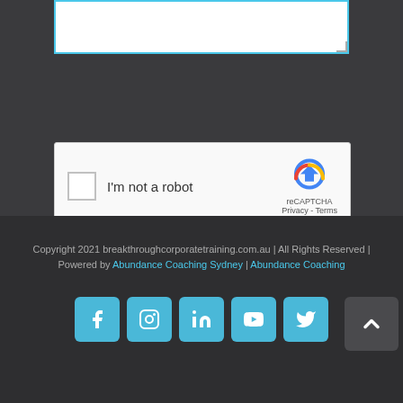[Figure (screenshot): Textarea input box with cyan/blue border, partially visible at the top of the page]
[Figure (screenshot): reCAPTCHA widget with checkbox labeled 'I'm not a robot' and reCAPTCHA logo with Privacy and Terms links]
[Figure (screenshot): Submit button in cyan/light blue with rounded corners]
Copyright 2021 breakthroughcorporatetraining.com.au | All Rights Reserved | Powered by Abundance Coaching Sydney | Abundance Coaching
[Figure (screenshot): Row of 5 social media icons (Facebook, Instagram, LinkedIn, YouTube, Twitter) in teal/cyan rounded squares, plus a back-to-top arrow button]